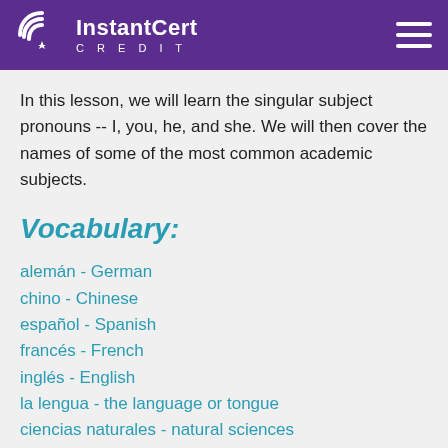InstantCert CREDIT
In this lesson, we will learn the singular subject pronouns -- I, you, he, and she. We will then cover the names of some of the most common academic subjects.
Vocabulary:
alemán - German
chino - Chinese
español - Spanish
francés - French
inglés - English
la lengua - the language or tongue
ciencias naturales - natural sciences